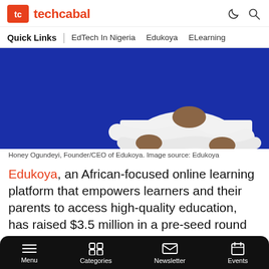techcabal
Quick Links | EdTech In Nigeria  Edukoya  ELearning
[Figure (photo): Person in white shirt with arms crossed against a dark blue background — Honey Ogundeyi, Founder/CEO of Edukoya]
Honey Ogundeyi, Founder/CEO of Edukoya. Image source: Edukoya
Edukoya, an African-focused online learning platform that empowers learners and their parents to access high-quality education, has raised $3.5 million in a pre-seed round led by Target Global.
Menu  Categories  Newsletter  Events
Shola Akinlade, co-founder/CEO of Paystack, Babs